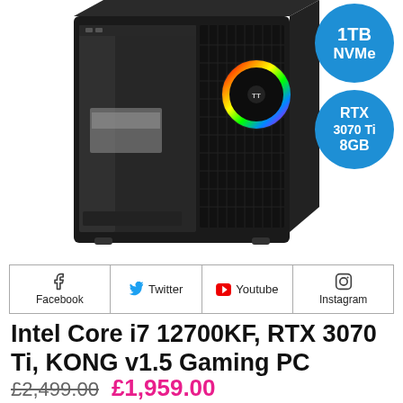[Figure (photo): Black gaming PC tower case with RGB fan (Thermaltake KONG v1.5), shown at an angle. Side panel is transparent showing internal components. Two blue circular badges on the right: '1TB NVMe' and 'RTX 3070 Ti 8GB'.]
[Figure (infographic): Social media buttons row: Facebook, Twitter, Youtube, Instagram]
Intel Core i7 12700KF, RTX 3070 Ti, KONG v1.5 Gaming PC
£2,499.00  £1,959.00